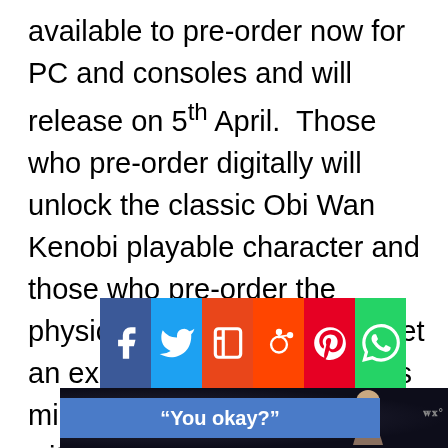available to pre-order now for PC and consoles and will release on 5th April.  Those who pre-order digitally will unlock the classic Obi Wan Kenobi playable character and those who pre-order the physical Deluxe Edition will get an exclusive LEGO Star Wars minifigure of Luke Skywalker with Blue Milk mustache.
[Figure (infographic): Social sharing bar with icons for Facebook, Twitter, Flipboard, Reddit, Pinterest, and WhatsApp]
[Figure (screenshot): Dark space-themed image with a figure/character silhouette on the right side, and a blue banner overlay at the bottom reading "You okay?" with a small wordmark on the right]